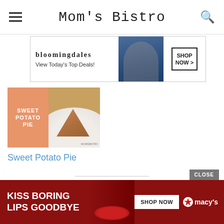Mom's Bistro
[Figure (photo): Bloomingdale's advertisement banner: 'View Today's Top Deals!' with SHOP NOW > button and a fashion photo of a woman in a blue hat]
[Figure (photo): Sweet Potato Pie recipe card image with orange block label text 'SWEET POTATO PIE' and photo of a pie slice on a white plate]
Sweet Potato Pie
TAGS
BEST SWEET POTATO PIE
FAMOUS SWEET POTATO PIE
[Figure (photo): Macy's advertisement banner: 'KISS BORING LIPS GOODBYE' with SHOP NOW button and Macy's star logo, with a close button overlay]